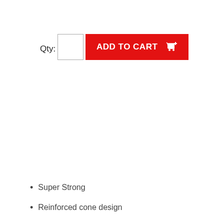Qty:
[Figure (screenshot): Quantity input box and red Add to Cart button with shopping cart icon]
Super Strong
Reinforced cone design